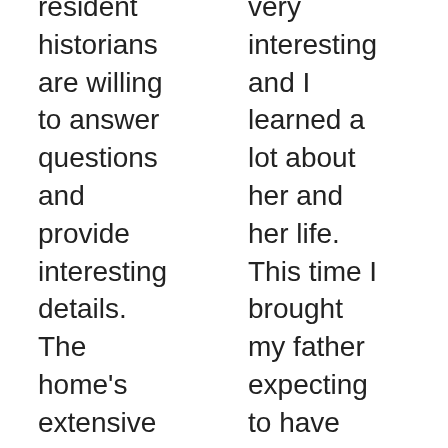resident historians are willing to answer questions and provide interesting details. The home's extensive restoration work has been meticulously documented
very interesting and I learned a lot about her and her life. This time I brought my father expecting to have the same experience but they don't provide